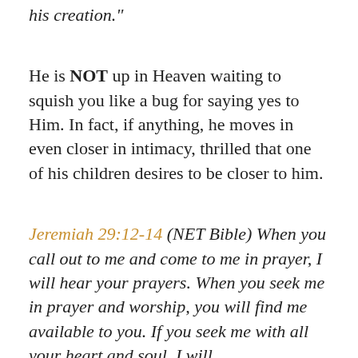his creation."
He is NOT up in Heaven waiting to squish you like a bug for saying yes to Him. In fact, if anything, he moves in even closer in intimacy, thrilled that one of his children desires to be closer to him.
Jeremiah 29:12-14 (NET Bible) When you call out to me and come to me in prayer, I will hear your prayers. When you seek me in prayer and worship, you will find me available to you. If you seek me with all your heart and soul, I will